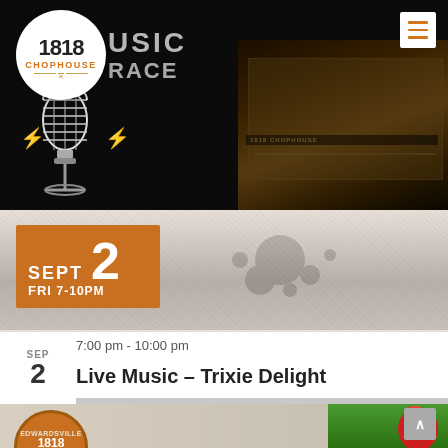[Figure (photo): 1818 Chophouse website screenshot showing hero banner with woman's face, restaurant exterior building photo, microphone graphic with lightning bolts, and live music event details for September 2]
7:00 pm - 10:00 pm
Live Music – Trixie Delight
[Figure (photo): Partial bottom banner showing 1818 Chophouse Edwardsville logo and illustrated rooster/character on green background]